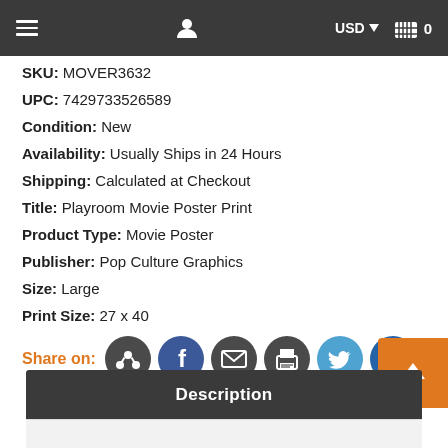≡  [user icon]  USD ▾  [cart icon] 0
SKU: MOVER3632
UPC: 7429733526589
Condition: New
Availability: Usually Ships in 24 Hours
Shipping: Calculated at Checkout
Title: Playroom Movie Poster Print
Product Type: Movie Poster
Publisher: Pop Culture Graphics
Size: Large
Print Size: 27 x 40
Share on: [social icons]
Description